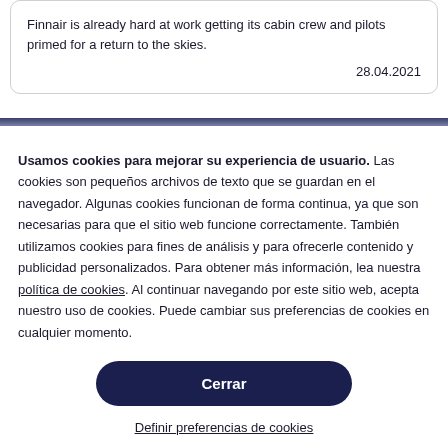Finnair is already hard at work getting its cabin crew and pilots primed for a return to the skies.
28.04.2021
Usamos cookies para mejorar su experiencia de usuario. Las cookies son pequeños archivos de texto que se guardan en el navegador. Algunas cookies funcionan de forma continua, ya que son necesarias para que el sitio web funcione correctamente. También utilizamos cookies para fines de análisis y para ofrecerle contenido y publicidad personalizados. Para obtener más información, lea nuestra política de cookies. Al continuar navegando por este sitio web, acepta nuestro uso de cookies. Puede cambiar sus preferencias de cookies en cualquier momento.
Cerrar
Definir preferencias de cookies